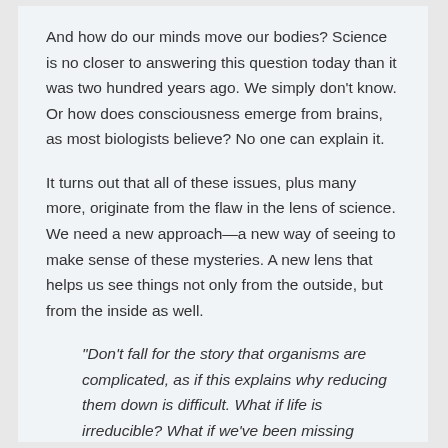And how do our minds move our bodies? Science is no closer to answering this question today than it was two hundred years ago. We simply don't know. Or how does consciousness emerge from brains, as most biologists believe? No one can explain it.
It turns out that all of these issues, plus many more, originate from the flaw in the lens of science. We need a new approach—a new way of seeing to make sense of these mysteries. A new lens that helps us see things not only from the outside, but from the inside as well.
“Don’t fall for the story that organisms are complicated, as if this explains why reducing them down is difficult. What if life is irreducible? What if we’ve been missing something? What if a new lens could reveal the problem? Then, as Rosen says, “the consequences are profoundly revolutionary.”
“Imagine finding new principles as simple as Newton’s laws of motion that can fill in the missing